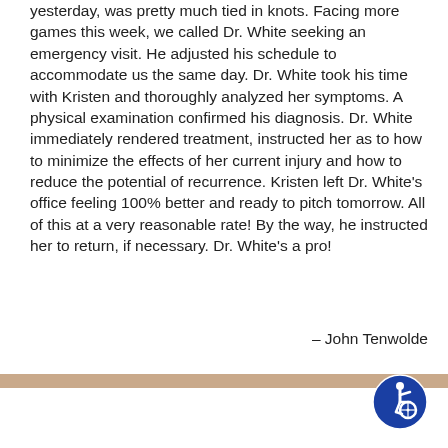yesterday, was pretty much tied in knots. Facing more games this week, we called Dr. White seeking an emergency visit. He adjusted his schedule to accommodate us the same day. Dr. White took his time with Kristen and thoroughly analyzed her symptoms. A physical examination confirmed his diagnosis. Dr. White immediately rendered treatment, instructed her as to how to minimize the effects of her current injury and how to reduce the potential of recurrence. Kristen left Dr. White's office feeling 100% better and ready to pitch tomorrow. All of this at a very reasonable rate! By the way, he instructed her to return, if necessary. Dr. White's a pro!
- John Tenwolde
[Figure (logo): Blue circular accessibility icon showing a person in a wheelchair]